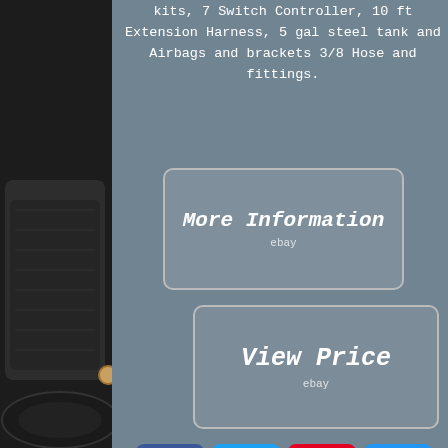kits, 7 Switch Controller, 10 ft Extension Harness, 5 gal steel tank and Airbags and brackets 3/8 Hose and fittings.
[Figure (screenshot): More Information button with ebay logo on gray background]
[Figure (screenshot): View Price button with ebay logo on gray background]
[Figure (infographic): Social media share icons: Facebook (blue), Twitter (blue), Pinterest (red), Email (blue)]
[Figure (photo): Product image on left side showing dark airbag suspension kit components]
[Figure (screenshot): Search bar with text input and Search button on gray background]
gallon  tank  horn